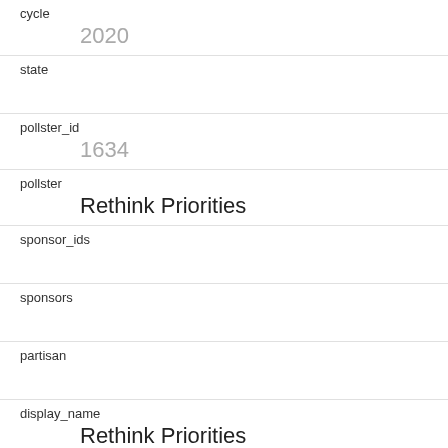| field | value |
| --- | --- |
| cycle | 2020 |
| state |  |
| pollster_id | 1634 |
| pollster | Rethink Priorities |
| sponsor_ids |  |
| sponsors |  |
| partisan |  |
| display_name | Rethink Priorities |
| pollster_rating_id | 672 |
| pollster_rating_name | Rethink Priorities |